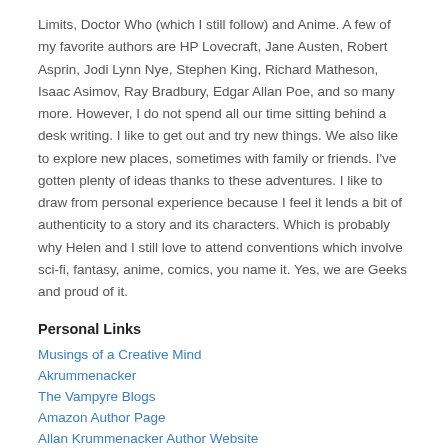Limits, Doctor Who (which I still follow) and Anime. A few of my favorite authors are HP Lovecraft, Jane Austen, Robert Asprin, Jodi Lynn Nye, Stephen King, Richard Matheson, Isaac Asimov, Ray Bradbury, Edgar Allan Poe, and so many more. However, I do not spend all our time sitting behind a desk writing. I like to get out and try new things. We also like to explore new places, sometimes with family or friends. I've gotten plenty of ideas thanks to these adventures. I like to draw from personal experience because I feel it lends a bit of authenticity to a story and its characters. Which is probably why Helen and I still love to attend conventions which involve sci-fi, fantasy, anime, comics, you name it. Yes, we are Geeks and proud of it.
Personal Links
Musings of a Creative Mind
Akrummenacker
The Vampyre Blogs
Amazon Author Page
Allan Krummenacker Author Website
Verified Services